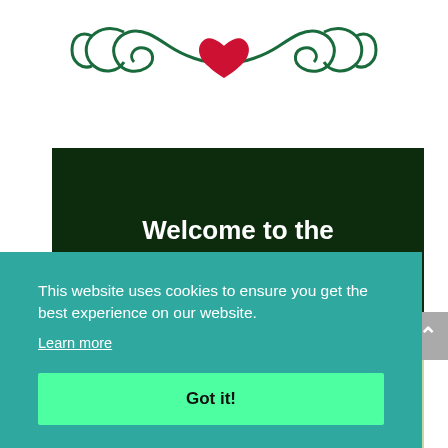[Figure (illustration): Decorative green swirl/flourish ornament with a red heart in the center]
Welcome to the Jade Circle®
This website uses cookies to ensure you get the best experience on our website.
Learn more
Got it!